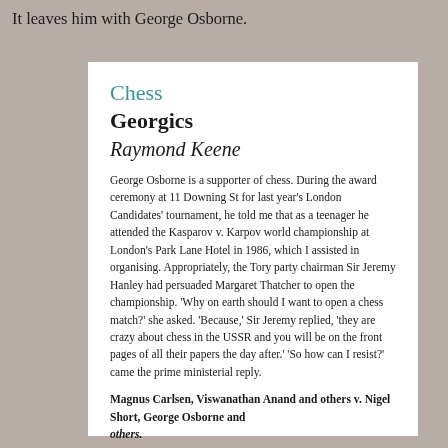It leaves him with George Osborne.
Chess
Georgics
Raymond Keene
George Osborne is a supporter of chess. During the award ceremony at 11 Downing St for last year's London Candidates' tournament, he told me that as a teenager he attended the Kasparov v. Karpov world championship at London's Park Lane Hotel in 1986, which I assisted in organising. Appropriately, the Tory party chairman Sir Jeremy Hanley had persuaded Margaret Thatcher to open the championship. 'Why on earth should I want to open a chess match?' she asked. 'Because,' Sir Jeremy replied, 'they are crazy about chess in the USSR and you will be on the front pages of all their papers the day after.' 'So how can I resist?' came the prime ministerial reply.
Magnus Carlsen, Viswanathan Anand and others v. Nigel Short, George Osborne and others. Grandplace Cup. First result in the